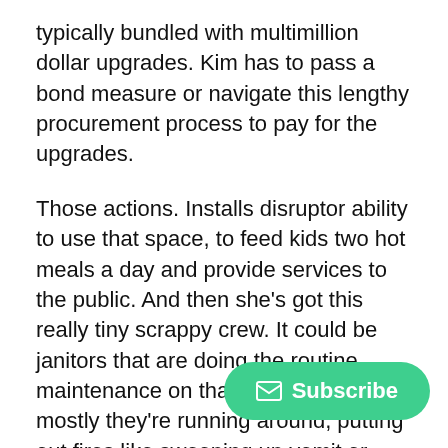typically bundled with multimillion dollar upgrades. Kim has to pass a bond measure or navigate this lengthy procurement process to pay for the upgrades.
Those actions. Installs disruptor ability to use that space, to feed kids two hot meals a day and provide services to the public. And then she's got this really tiny scrappy crew. It could be janitors that are doing the routine maintenance on that equipment. And mostly they're running around, putting out fires like sweeping up vomit or raking mulch or fixing broken old HVAC.
And they don't have time to sit do[wn and learn] building automation. So what mo[st schools do] is they just skip automation. Kim is literally tracking
[Figure (other): Green pill-shaped Subscribe button with envelope icon overlay in bottom-right corner]